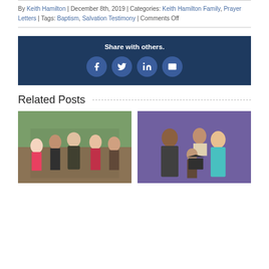By Keith Hamilton | December 8th, 2019 | Categories: Keith Hamilton Family, Prayer Letters | Tags: Baptism, Salvation Testimony | Comments Off
[Figure (infographic): Share with others panel with Facebook, Twitter, LinkedIn, and Email icons on dark navy background]
Related Posts
[Figure (photo): Group photo of five people outdoors, including children and adults]
[Figure (photo): Family portrait of a man in suit, woman in teal top, and several children against purple background]